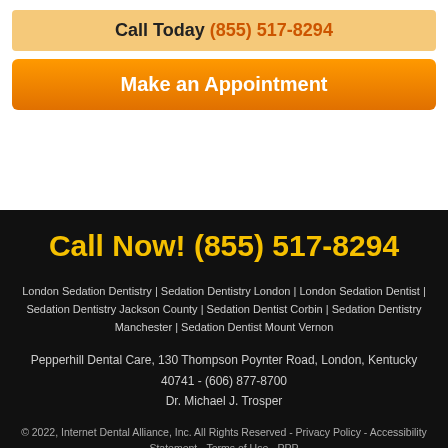Call Today (855) 517-8294
Make an Appointment
Call Now! (855) 517-8294
London Sedation Dentistry | Sedation Dentistry London | London Sedation Dentist | Sedation Dentistry Jackson County | Sedation Dentist Corbin | Sedation Dentistry Manchester | Sedation Dentist Mount Vernon
Pepperhill Dental Care, 130 Thompson Poynter Road, London, Kentucky 40741 - (606) 877-8700
Dr. Michael J. Trosper
© 2022, Internet Dental Alliance, Inc. All Rights Reserved - Privacy Policy - Accessibility Statement - Terms of Use - PPP